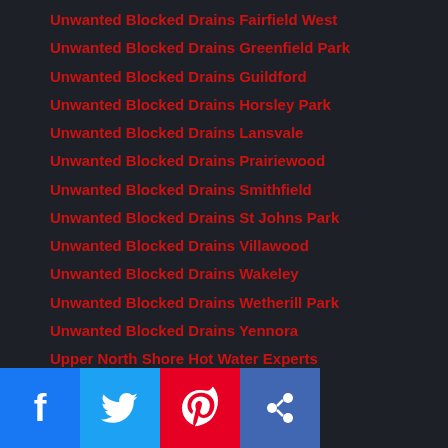Unwanted Blocked Drains Fairfield West
Unwanted Blocked Drains Greenfield Park
Unwanted Blocked Drains Guildford
Unwanted Blocked Drains Horsley Park
Unwanted Blocked Drains Lansvale
Unwanted Blocked Drains Prairiewood
Unwanted Blocked Drains Smithfield
Unwanted Blocked Drains St Johns Park
Unwanted Blocked Drains Villawood
Unwanted Blocked Drains Wakeley
Unwanted Blocked Drains Wetherill Park
Unwanted Blocked Drains Yennora
Upper North Shore Hot Water Experts
Upper North Shore Plumbers
Varroville Plumbers
Villawood Plumbers
VIP Members
Wakeley Plumbers
Wetherill Park Plumber